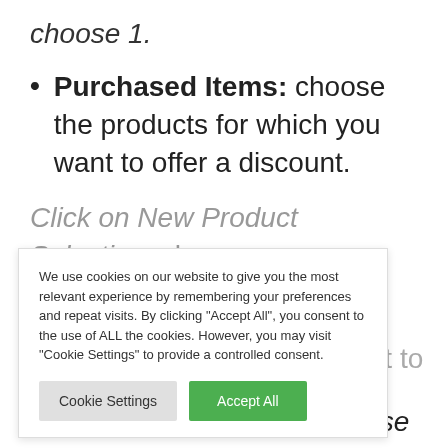choose 1.
Purchased Items: choose the products for which you want to offer a discount.
Click on New Product Selection; choose you want to hoose SKU Selection, ne or click
[Figure (screenshot): Cookie consent popup overlay with text: We use cookies on our website to give you the most relevant experience by remembering your preferences and repeat visits. By clicking Accept All, you consent to the use of ALL the cookies. However, you may visit Cookie Settings to provide a controlled consent. Two buttons: Cookie Settings and Accept All.]